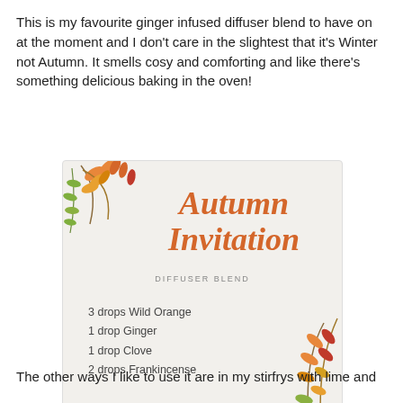This is my favourite ginger infused diffuser blend to have on at the moment and I don't care in the slightest that it's Winter not Autumn. It smells cosy and comforting and like there's something delicious baking in the oven!
[Figure (infographic): Autumn Invitation diffuser blend card with decorative autumn leaf branches in orange, red, green and gold. Text reads: Autumn Invitation DIFFUSER BLEND. 3 drops Wild Orange, 1 drop Ginger, 1 drop Clove, 2 drops Frankincense. dōTERRA logo at bottom right.]
The other ways I like to use it are in my stirfrys with lime and